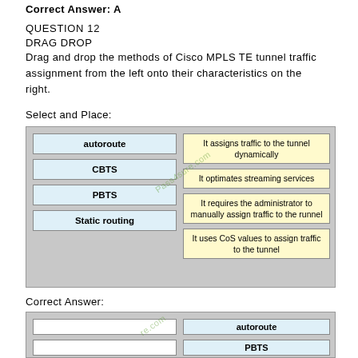Correct Answer: A
QUESTION 12
DRAG DROP
Drag and drop the methods of Cisco MPLS TE tunnel traffic assignment from the left onto their characteristics on the right.
Select and Place:
[Figure (other): Drag and drop matching diagram with left column items (autoroute, CBTS, PBTS, Static routing) and right column items (It assigns traffic to the tunnel dynamically, It optimates streaming services, It requires the administrator to manually assign traffic to the runnel, It uses CoS values to assign traffic to the tunnel)]
Correct Answer:
[Figure (other): Answer diagram showing matched pairs: empty left boxes with right column items autoroute and PBTS visible]